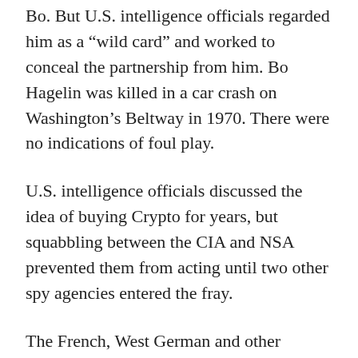Bo. But U.S. intelligence officials regarded him as a “wild card” and worked to conceal the partnership from him. Bo Hagelin was killed in a car crash on Washington’s Beltway in 1970. There were no indications of foul play.
U.S. intelligence officials discussed the idea of buying Crypto for years, but squabbling between the CIA and NSA prevented them from acting until two other spy agencies entered the fray.
The French, West German and other European intelligence services had either been told about the United States’ arrangement with Crypto or figured it out on their own. Some were understandably jealous and probed for